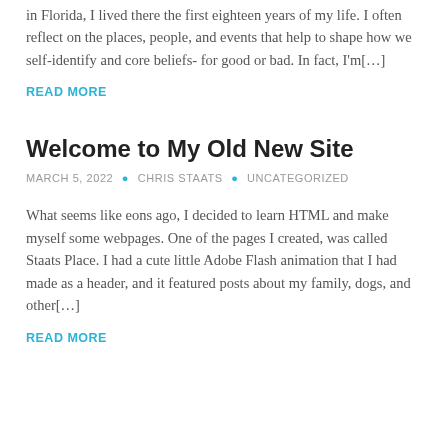in Florida, I lived there the first eighteen years of my life. I often reflect on the places, people, and events that help to shape how we self-identify and core beliefs- for good or bad. In fact, I'm[…]
READ MORE
Welcome to My Old New Site
MARCH 5, 2022 • CHRIS STAATS • UNCATEGORIZED
What seems like eons ago, I decided to learn HTML and make myself some webpages. One of the pages I created, was called Staats Place. I had a cute little Adobe Flash animation that I had made as a header, and it featured posts about my family, dogs, and other[…]
READ MORE